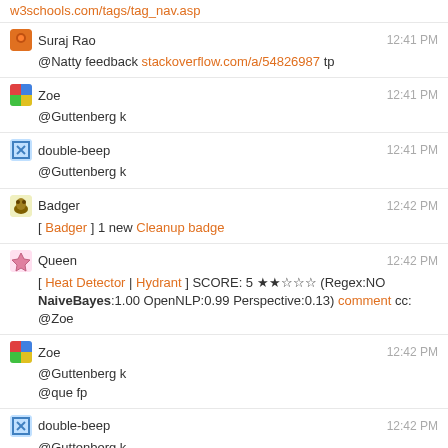w3schools.com/tags/tag_nav.asp
Suraj Rao 12:41 PM
@Natty feedback stackoverflow.com/a/54826987 tp
Zoe 12:41 PM
@Guttenberg k
double-beep 12:41 PM
@Guttenberg k
Badger 12:42 PM
[ Badger ] 1 new Cleanup badge
Queen 12:42 PM
[ Heat Detector | Hydrant ] SCORE: 5 ★★☆☆☆ (Regex:NO NaiveBayes:1.00 OpenNLP:0.99 Perspective:0.13) comment cc: @Zoe
Zoe 12:42 PM
@Guttenberg k
@que fp
double-beep 12:42 PM
@Guttenberg k
Zoe 12:42 PM
@Guttenberg f
@Guttenberg k